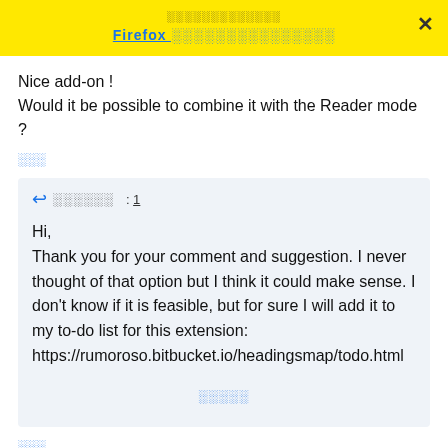░░░░░░░░░░░░░ Firefox ░░░░░░░░░░░░░░░
Nice add-on !
Would it be possible to combine it with the Reader mode ?
░░░
↩ ░░░░░░  : 1
Hi,
Thank you for your comment and suggestion. I never thought of that option but I think it could make sense. I don't know if it is feasible, but for sure I will add it to my to-do list for this extension:
https://rumoroso.bitbucket.io/headingsmap/todo.html
░░░░░
░░░